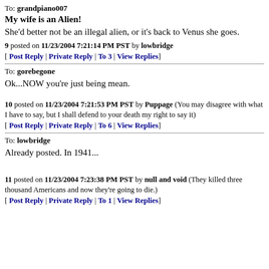To: grandpiano007
My wife is an Alien!
She'd better not be an illegal alien, or it's back to Venus she goes.
9 posted on 11/23/2004 7:21:14 PM PST by lowbridge [ Post Reply | Private Reply | To 3 | View Replies]
To: gorebegone
Ok...NOW you're just being mean.
10 posted on 11/23/2004 7:21:53 PM PST by Puppage (You may disagree with what I have to say, but I shall defend to your death my right to say it) [ Post Reply | Private Reply | To 6 | View Replies]
To: lowbridge
Already posted. In 1941...
11 posted on 11/23/2004 7:23:38 PM PST by null and void (They killed three thousand Americans and now they're going to die.) [ Post Reply | Private Reply | To 1 | View Replies]